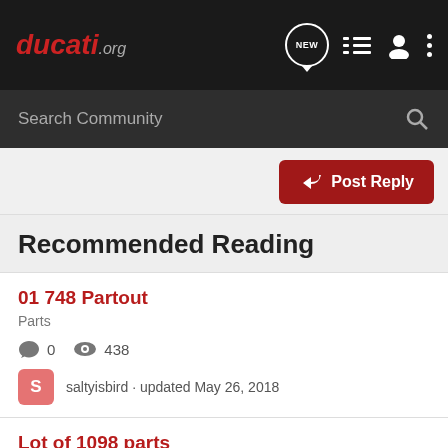ducati.org — navigation bar with NEW, list, user, and menu icons
Search Community
Post Reply
Recommended Reading
01 748 Partout
Parts
0   438
saltyisbird · updated May 26, 2018
Lot of 1098 parts
For Sale/Wanted